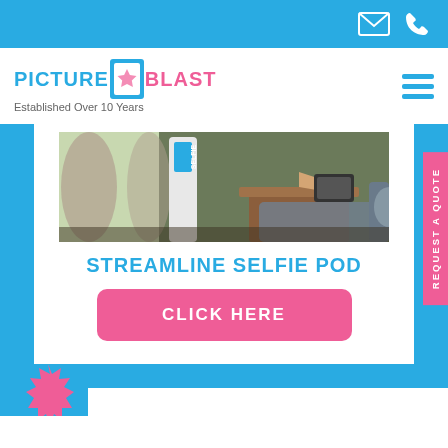[Figure (screenshot): Website screenshot of Picture Blast company page showing logo, navigation, selfie pod product photo, title and call-to-action button]
Picture Blast - Established Over 10 Years
[Figure (photo): Streamline Selfie Pod product photo in a room setting with curtains and furniture]
STREAMLINE SELFIE POD
CLICK HERE
REQUEST A QUOTE